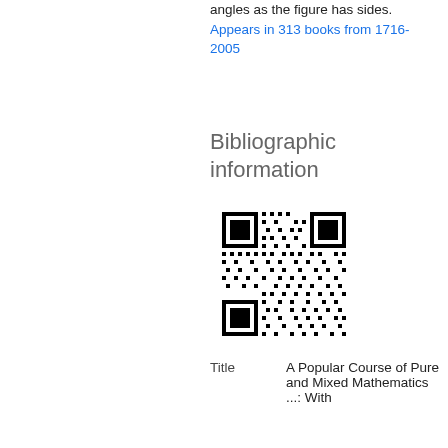angles as the figure has sides.
Appears in 313 books from 1716-2005
Bibliographic information
[Figure (other): QR code for bibliographic information]
| Title | A Popular Course of Pure and Mixed Mathematics ...: With |